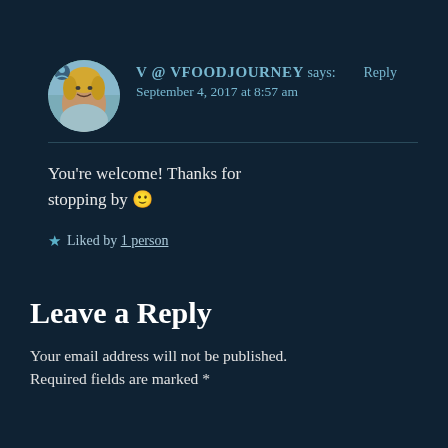[Figure (photo): Circular avatar photo of a blonde woman smiling outdoors]
V @ VFOODJOURNEY says: Reply
September 4, 2017 at 8:57 am
You're welcome! Thanks for stopping by 🙂
★ Liked by 1 person
Leave a Reply
Your email address will not be published. Required fields are marked *